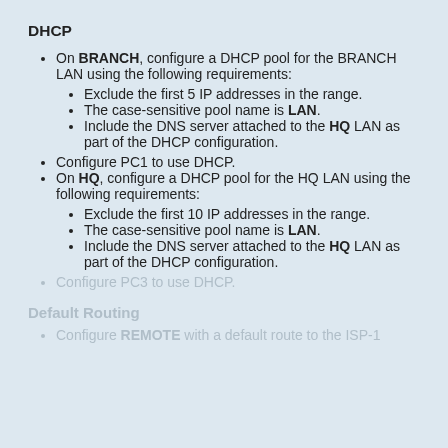DHCP
On BRANCH, configure a DHCP pool for the BRANCH LAN using the following requirements:
Exclude the first 5 IP addresses in the range.
The case-sensitive pool name is LAN.
Include the DNS server attached to the HQ LAN as part of the DHCP configuration.
Configure PC1 to use DHCP.
On HQ, configure a DHCP pool for the HQ LAN using the following requirements:
Exclude the first 10 IP addresses in the range.
The case-sensitive pool name is LAN.
Include the DNS server attached to the HQ LAN as part of the DHCP configuration.
Configure PC3 to use DHCP.
Default Routing
Configure REMOTE with a default route to the ISP-1